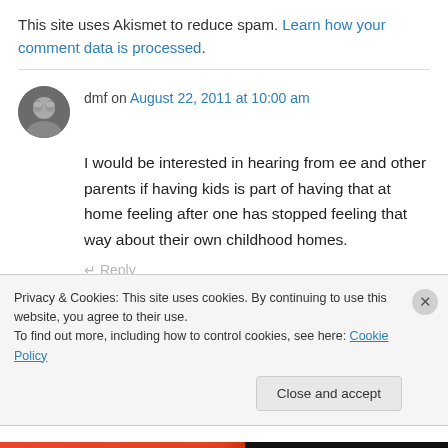This site uses Akismet to reduce spam. Learn how your comment data is processed.
dmf on August 22, 2011 at 10:00 am
I would be interested in hearing from ee and other parents if having kids is part of having that at home feeling after one has stopped feeling that way about their own childhood homes.
Privacy & Cookies: This site uses cookies. By continuing to use this website, you agree to their use. To find out more, including how to control cookies, see here: Cookie Policy
Close and accept